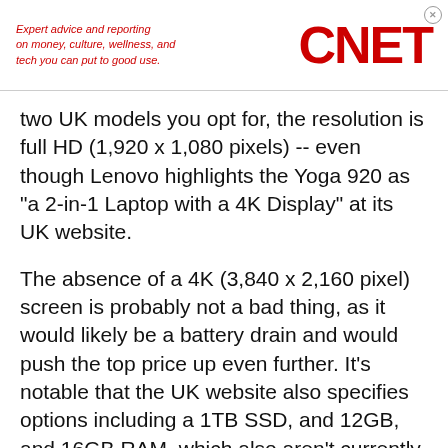[Figure (logo): CNET advertisement banner with tagline 'Expert advice and reporting on money, culture, wellness, and tech you can put to good use.' and large red CNET logo]
two UK models you opt for, the resolution is full HD (1,920 x 1,080 pixels) -- even though Lenovo highlights the Yoga 920 as "a 2-in-1 Laptop with a 4K Display" at its UK website.
The absence of a 4K (3,840 x 2,160 pixel) screen is probably not a bad thing, as it would likely be a battery drain and would push the top price up even further. It's notable that the UK website also specifies options including a 1TB SSD, and 12GB, and 16GB RAM, which also aren't currently available.